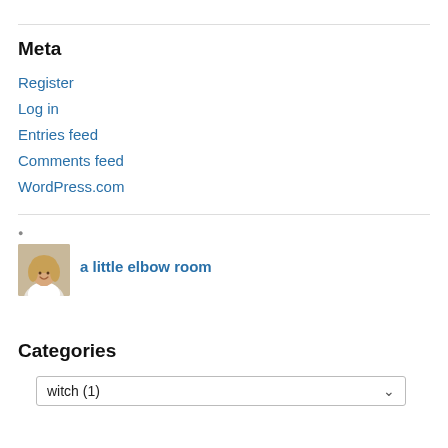Meta
Register
Log in
Entries feed
Comments feed
WordPress.com
[Figure (photo): Avatar photo of a woman with blonde hair, smiling, in a white top]
a little elbow room
Categories
witch  (1)